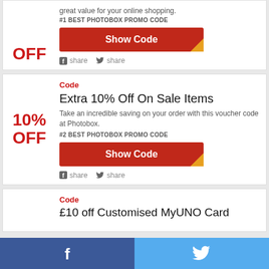great value for your online shopping.
#1 BEST PHOTOBOX PROMO CODE
Show Code
share  share
Code
Extra 10% Off On Sale Items
Take an incredible saving on your order with this voucher code at Photobox.
#2 BEST PHOTOBOX PROMO CODE
Show Code
share  share
Code
£10 off Customised MyUNO Card